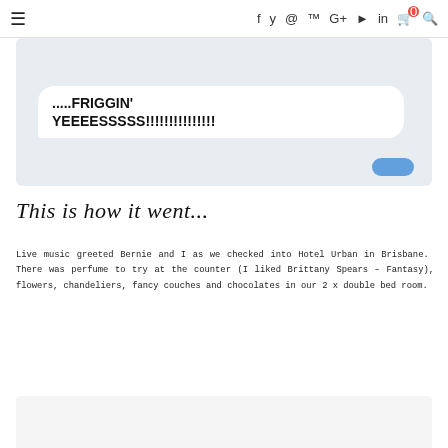≡  f  🐦  ⊙  ℗  G+  ▶  in  🛒0  🔍
[Figure (screenshot): Screenshot of a text message bubble showing: .....FRIGGIN' YEEEESSSSS!!!!!!!!!!!!!!! with a send button at the bottom right]
This is how it went...
Live music greeted Bernie and I as we checked into Hotel Urban in Brisbane. There was perfume to try at the counter (I liked Brittany Spears – Fantasy), flowers, chandeliers, fancy couches and chocolates in our 2 x double bed room.
[Figure (photo): Partially visible photo at bottom of page, light colored background]